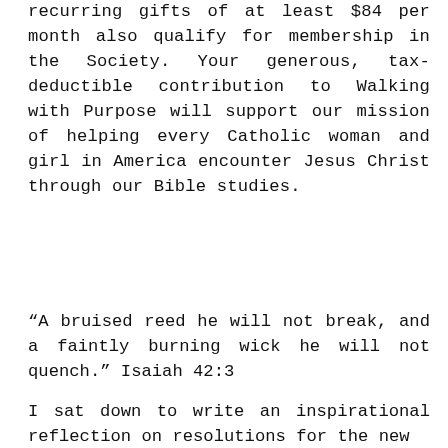recurring gifts of at least $84 per month also qualify for membership in the Society. Your generous, tax-deductible contribution to Walking with Purpose will support our mission of helping every Catholic woman and girl in America encounter Jesus Christ through our Bible studies.
“A bruised reed he will not break, and a faintly burning wick he will not quench.” Isaiah 42:3
I sat down to write an inspirational reflection on resolutions for the new